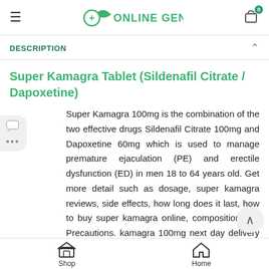Online Generic — header with hamburger menu, logo, and cart icon showing 0 items
DESCRIPTION
Super Kamagra Tablet (Sildenafil Citrate / Dapoxetine)
Super Kamagra 100mg is the combination of the two effective drugs Sildenafil Citrate 100mg and Dapoxetine 60mg which is used to manage premature ejaculation (PE) and erectile dysfunction (ED) in men 18 to 64 years old. Get more detail such as dosage, super kamagra reviews, side effects, how long does it last, how to buy super kamagra online, composition and Precautions. kamagra 100mg next day delivery at your doorstep.
Shop | Home